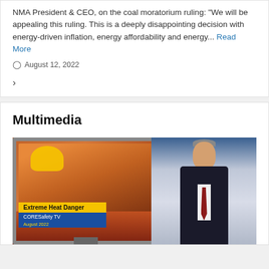NMA President & CEO, on the coal moratorium ruling: "We will be appealing this ruling. This is a deeply disappointing decision with energy-driven inflation, energy affordability and energy... Read More
August 12, 2022
Multimedia
[Figure (screenshot): Video thumbnail showing a TV news broadcast titled 'Extreme Heat Danger' from CORESafety TV, August 2022, with a news anchor in a suit on the right and a worker in a hard hat and safety vest on a screen on the left.]